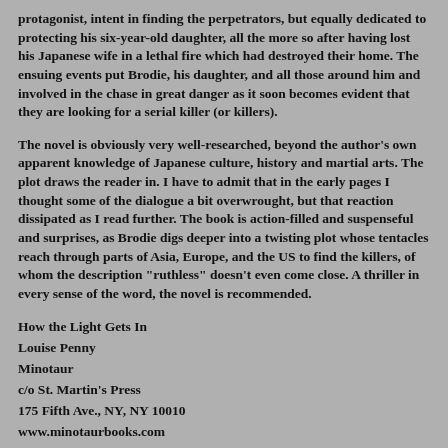protagonist, intent in finding the perpetrators, but equally dedicated to protecting his six-year-old daughter, all the more so after having lost his Japanese wife in a lethal fire which had destroyed their home. The ensuing events put Brodie, his daughter, and all those around him and involved in the chase in great danger as it soon becomes evident that they are looking for a serial killer (or killers).
The novel is obviously very well-researched, beyond the author's own apparent knowledge of Japanese culture, history and martial arts. The plot draws the reader in. I have to admit that in the early pages I thought some of the dialogue a bit overwrought, but that reaction dissipated as I read further. The book is action-filled and suspenseful and surprises, as Brodie digs deeper into a twisting plot whose tentacles reach through parts of Asia, Europe, and the US to find the killers, of whom the description "ruthless" doesn't even come close. A thriller in every sense of the word, the novel is recommended.
How the Light Gets In
Louise Penny
Minotaur
c/o St. Martin's Press
175 Fifth Ave., NY, NY 10010
www.minotaurbooks.com